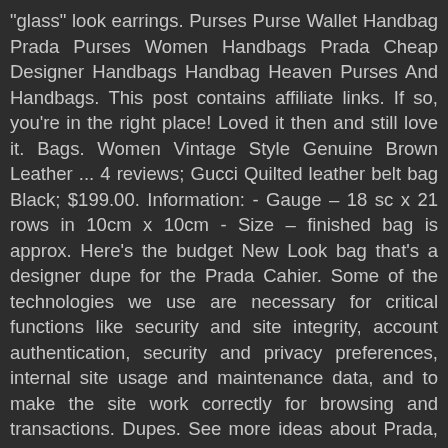"glass" look earrings. Purses Purse Wallet Handbag Prada Purses Women Handbags Prada Cheap Designer Handbags Handbag Heaven Purses And Handbags. This post contains affiliate links. If so, you're in the right place! Loved it then and still love it. Bags. Women Vintage Style Genuine Brown Leather ... 4 reviews; Gucci Quilted leather belt bag Black; $199.00. Information: - Gauge – 18 sc x 21 rows in 10cm x 10cm - Size – finished bag is approx. Here's the budget New Look bag that's a designer dupe for the Prada Cahier. Some of the technologies we use are necessary for critical functions like security and site integrity, account authentication, security and privacy preferences, internal site usage and maintenance data, and to make the site work correctly for browsing and transactions. Dupes. See more ideas about Prada, Prada handbags, Prada bag. On SALE now! Prada - grün macht gute Laune ! June 2020. Medium Lady D-Lite Bag. 199 Besuchen Sie den offiziellen PRADA Online-Shop, entdecken Sie die neue Taschen für Damen und kaufen Sie jetzt online. Free shipping on